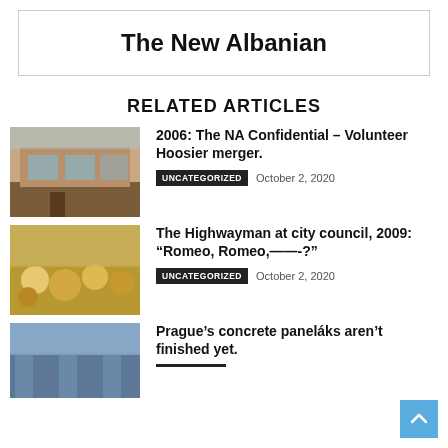The New Albanian
RELATED ARTICLES
[Figure (photo): Exterior of a brick building with large windows]
2006: The NA Confidential – Volunteer Hoosier merger.
UNCATEGORIZED   October 2, 2020
[Figure (photo): Crowd of people seated in a meeting room]
The Highwayman at city council, 2009: “Romeo, Romeo,——-?”
UNCATEGORIZED   October 2, 2020
[Figure (photo): Concrete apartment buildings against a sky]
Prague’s concrete paneláks aren’t finished yet.